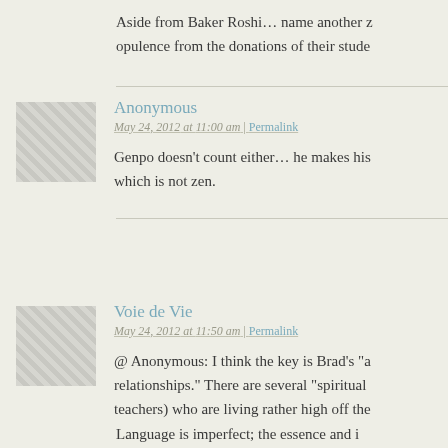Aside from Baker Roshi… name another z opulence from the donations of their stude
Anonymous
May 24, 2012 at 11:00 am | Permalink
[Figure (illustration): Anonymous user avatar placeholder — grey checkered square]
Genpo doesn't count either… he makes his which is not zen.
Voie de Vie
May 24, 2012 at 11:50 am | Permalink
[Figure (illustration): Voie de Vie user avatar placeholder — grey checkered square]
@ Anonymous: I think the key is Brad's "a relationships." There are several "spiritual teachers) who are living rather high off the
Language is imperfect; the essence and i